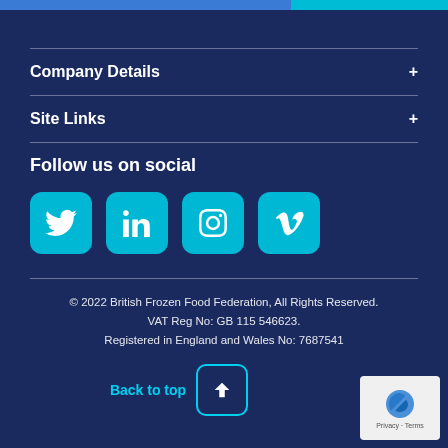Company Details
Site Links
Follow us on social
[Figure (infographic): Four social media icon buttons: Twitter, LinkedIn, Instagram, Vimeo — cyan rounded squares with white icons]
© 2022 British Frozen Food Federation, All Rights Reserved. VAT Reg No: GB 115 546623. Registered in England and Wales No: 7687541
Back to top